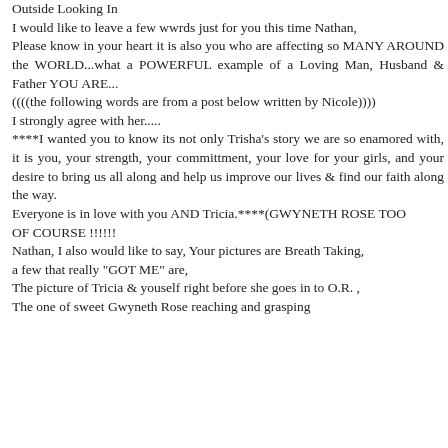Outside Looking In
I would like to leave a few wwrds just for you this time Nathan,
Please know in your heart it is also you who are affecting so MANY AROUND the WORLD...what a POWERFUL example of a Loving Man, Husband & Father YOU ARE...
((((the following words are from a post below written by Nicole))))
I strongly agree with her.....
****I wanted you to know its not only Trisha's story we are so enamored with, it is you, your strength, your committment, your love for your girls, and your desire to bring us all along and help us improve our lives & find our faith along the way.
Everyone is in love with you AND Tricia.****(GWYNETH ROSE TOO
OF COURSE !!!!!!
Nathan, I also would like to say, Your pictures are Breath Taking,
a few that really "GOT ME" are,
The picture of Tricia & youself right before she goes in to O.R. ,
The one of sweet Gwyneth Rose reaching and grasping